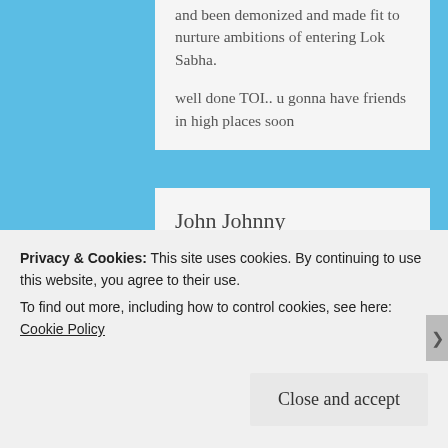and been demonized and made fit to nurture ambitions of entering Lok Sabha.
well done TOI.. u gonna have friends in high places soon
John Johnny
5 June 2013 at 11:22 am · Reply
If you want to have “real” news, go to the Internet. It is no use to feed the fat-cat journalists and editors of
Privacy & Cookies: This site uses cookies. By continuing to use this website, you agree to their use.
To find out more, including how to control cookies, see here: Cookie Policy